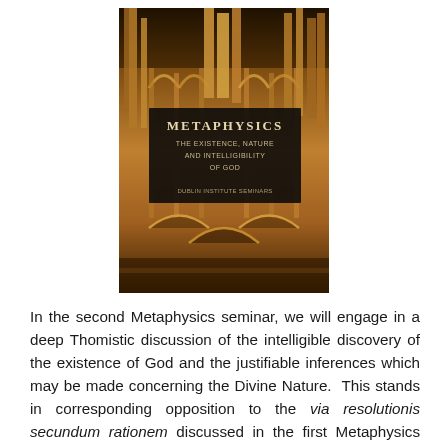[Figure (illustration): Book cover of 'Metaphysics: The Existence, Nature and Intelligibility of God' showing a Gothic cathedral interior in warm amber/gold tones, with a dark overlay text box in the center displaying the title and subtitle.]
In the second Metaphysics seminar, we will engage in a deep Thomistic discussion of the intelligible discovery of the existence of God and the justifiable inferences which may be made concerning the Divine Nature.  This stands in corresponding opposition to the via resolutionis secundum rationem discussed in the first Metaphysics seminar, concerning the discovery of ens inquantum ens, as the via